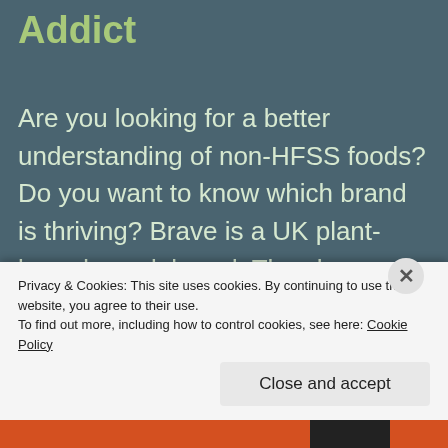Addict
Are you looking for a better understanding of non-HFSS foods? Do you want to know which brand is thriving? Brave is a UK plant-based snack brand. They have recently developed a grain-free, sugar-free breakfast cereal product made from chickpeas and peas. This product is known
Privacy & Cookies: This site uses cookies. By continuing to use this website, you agree to their use.
To find out more, including how to control cookies, see here: Cookie Policy
Close and accept